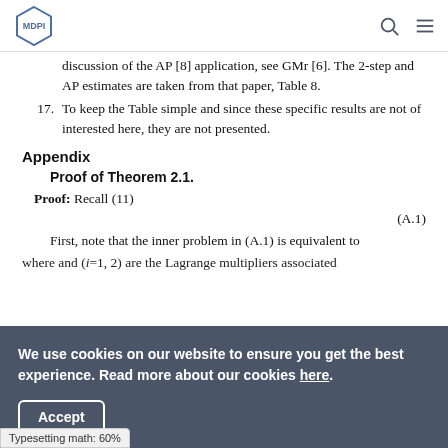MDPI
discussion of the AP [8] application, see GMr [6]. The 2-step and AP estimates are taken from that paper, Table 8.
17. To keep the Table simple and since these specific results are not of interested here, they are not presented.
Appendix
Proof of Theorem 2.1.
Proof:  Recall (11)
First, note that the inner problem in (A.1) is equivalent to
where and (i=1, 2) are the Lagrange multipliers associated
We use cookies on our website to ensure you get the best experience. Read more about our cookies here.
Accept
Typesetting math: 60%